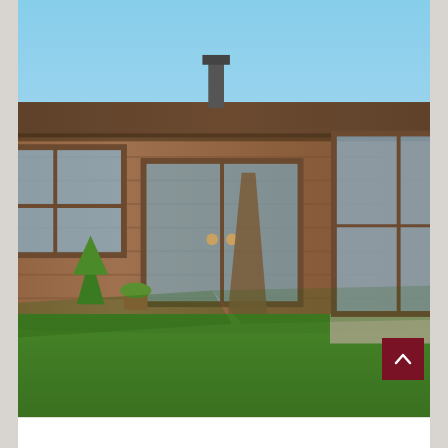[Figure (photo): Exterior photo of a modern wooden garden room/cabin with flat roof, large glass doors and windows, surrounded by a green lawn with trees and shrubs under a blue sky]
We build all ranges in sizes, shapes, and a design that is suited to all properties. This is a great way to create additional living space that is cost-effective, quick, and easy...
READ MORE